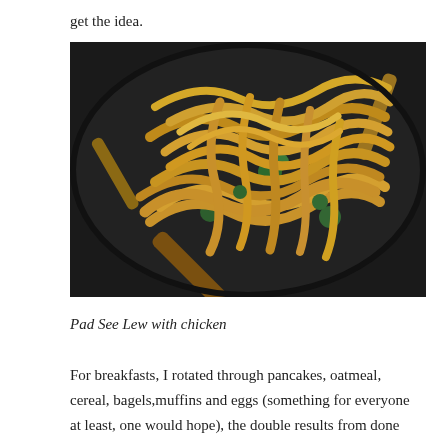get the idea.
[Figure (photo): A wok or dark pan with flat rice noodles stir-fried with broccoli and chicken, being stirred with a wooden spatula. The noodles are golden-brown and piled high.]
Pad See Lew with chicken
For breakfasts, I rotated through pancakes, oatmeal, cereal, bagels, muffins and eggs (something for everyone at least, one would hope), the double results from done